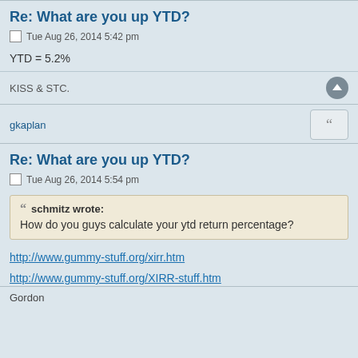Re: What are you up YTD?
Tue Aug 26, 2014 5:42 pm
YTD = 5.2%
KISS & STC.
gkaplan
Re: What are you up YTD?
Tue Aug 26, 2014 5:54 pm
schmitz wrote:
How do you guys calculate your ytd return percentage?
http://www.gummy-stuff.org/xirr.htm
http://www.gummy-stuff.org/XIRR-stuff.htm
Gordon